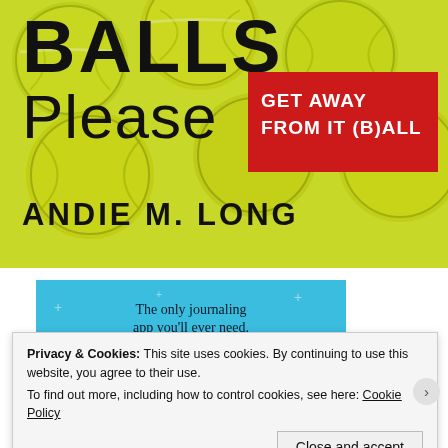[Figure (illustration): Book cover for 'Balls Please' by Andie M. Long showing yellow-green tennis balls background with large black text 'BALLS Please', a red rectangle with white text 'GET AWAY FROM IT (B)ALL', and author name 'ANDIE M. LONG' in bold black.]
[Figure (screenshot): Advertisement banner with light blue background: 'The only journaling app you'll ever need.' with a dark blue 'Get the app' button and sparkle/plus decorations.]
Privacy & Cookies: This site uses cookies. By continuing to use this website, you agree to their use.
To find out more, including how to control cookies, see here: Cookie Policy
Close and accept